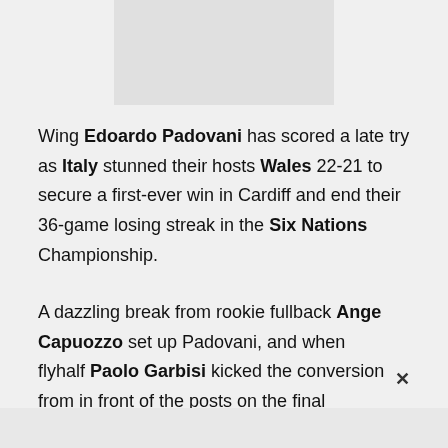[Figure (photo): Gray placeholder image box at top center of page]
Wing Edoardo Padovani has scored a late try as Italy stunned their hosts Wales 22-21 to secure a first-ever win in Cardiff and end their 36-game losing streak in the Six Nations Championship.
A dazzling break from rookie fullback Ange Capuozzo set up Padovani, and when flyhalf Paolo Garbisi kicked the conversion from in front of the posts on the final whistle, Italy's magic moment on